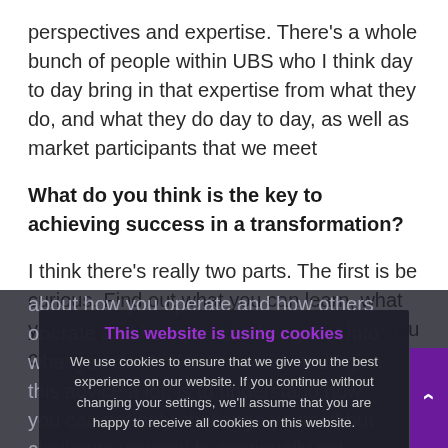perspectives and expertise. There's a whole bunch of people within UBS who I think day to day bring in that expertise from what they do, and what they do day to day, as well as market participants that we meet
What do you think is the key to achieving success in a transformation?
I think there's really two parts. The first is be curious. Find out what you can learn, what you can experience, what you can do or you can question about how you operate and how others operate and how you can bring that into what you do. And the second, and I give this advice a lot, is to understand how you can not only challenge yourself but challenge yourself to continually set improve the person you are, and the one you want to be.
This website is using cookies
We use cookies to ensure that we give you the best experience on our website. If you continue without changing your settings, we'll assume that you are happy to receive all cookies on this website.
Accept  Learn More